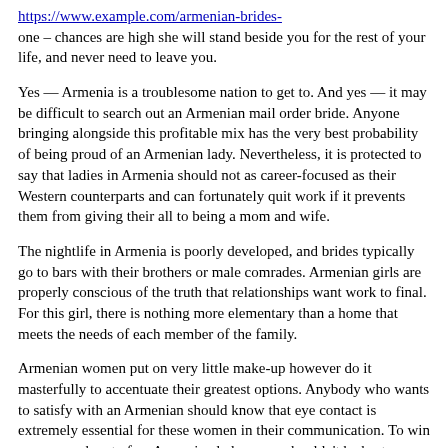[link] one – chances are high she will stand beside you for the rest of your life, and never need to leave you.
Yes — Armenia is a troublesome nation to get to. And yes — it may be difficult to search out an Armenian mail order bride. Anyone bringing alongside this profitable mix has the very best probability of being proud of an Armenian lady. Nevertheless, it is protected to say that ladies in Armenia should not as career-focused as their Western counterparts and can fortunately quit work if it prevents them from giving their all to being a mom and wife.
The nightlife in Armenia is poorly developed, and brides typically go to bars with their brothers or male comrades. Armenian girls are properly conscious of the truth that relationships want work to final. For this girl, there is nothing more elementary than a home that meets the needs of each member of the family.
Armenian women put on very little make-up however do it masterfully to accentuate their greatest options. Anybody who wants to satisfy with an Armenian should know that eye contact is extremely essential for these women in their communication. To win a coronary heart of an Armenian lady, a guy shouldn't be hasty.